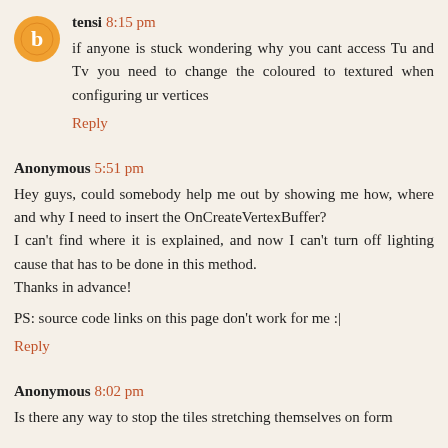tensi 8:15 pm
if anyone is stuck wondering why you cant access Tu and Tv you need to change the coloured to textured when configuring ur vertices
Reply
Anonymous 5:51 pm
Hey guys, could somebody help me out by showing me how, where and why I need to insert the OnCreateVertexBuffer?
I can't find where it is explained, and now I can't turn off lighting cause that has to be done in this method.
Thanks in advance!

PS: source code links on this page don't work for me :|
Reply
Anonymous 8:02 pm
Is there any way to stop the tiles stretching themselves on form